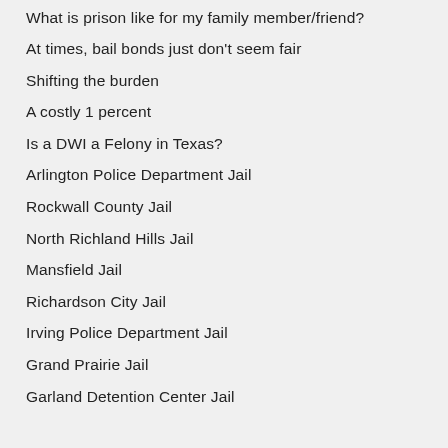What is prison like for my family member/friend?
At times, bail bonds just don't seem fair
Shifting the burden
A costly 1 percent
Is a DWI a Felony in Texas?
Arlington Police Department Jail
Rockwall County Jail
North Richland Hills Jail
Mansfield Jail
Richardson City Jail
Irving Police Department Jail
Grand Prairie Jail
Garland Detention Center Jail